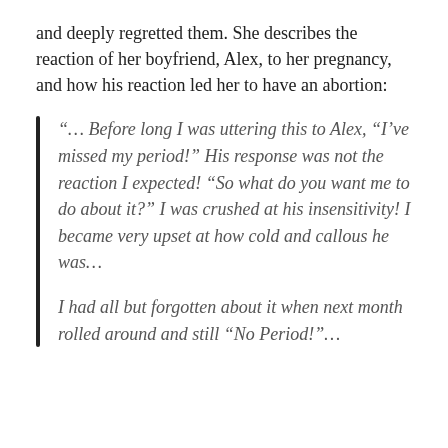and deeply regretted them. She describes the reaction of her boyfriend, Alex, to her pregnancy, and how his reaction led her to have an abortion:
"… Before long I was uttering this to Alex, "I've missed my period!" His response was not the reaction I expected! "So what do you want me to do about it?" I was crushed at his insensitivity! I became very upset at how cold and callous he was...

I had all but forgotten about it when next month rolled around and still "No Period!"...